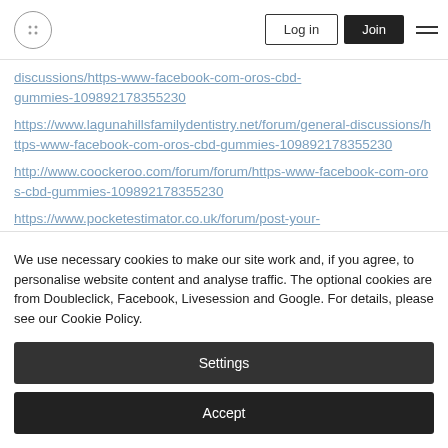Log in | Join
discussions/https-www-facebook-com-oros-cbd-gummies-109892178355230
https://www.lagunahillsfamilydentistry.net/forum/general-discussions/https-www-facebook-com-oros-cbd-gummies-109892178355230
http://www.coockeroo.com/forum/forum/https-www-facebook-com-oros-cbd-gummies-109892178355230
https://www.pocketestimator.co.uk/forum/post-your-
We use necessary cookies to make our site work and, if you agree, to personalise website content and analyse traffic. The optional cookies are from Doubleclick, Facebook, Livesession and Google. For details, please see our Cookie Policy.
Settings
Accept